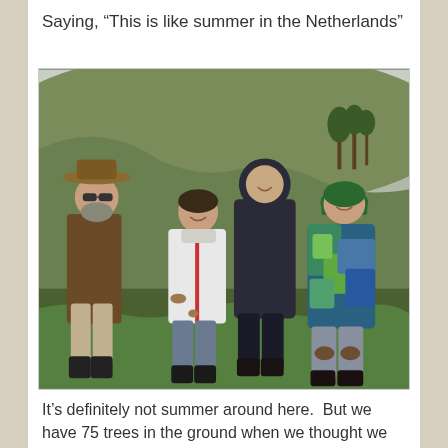Saying, “This is like summer in the Netherlands”
[Figure (photo): Four people standing on a grassy hillside on a cold, overcast day. From left: older man in wide-brimmed hat and brown jacket; young woman in white jacket with mud on it; person in dark hooded jacket; younger person in colorful blue/green patterned jacket. Background shows a green rolling hill with trees and red flags in the distance.]
It’s definitely not summer around here.  But we have 75 trees in the ground when we thought we might